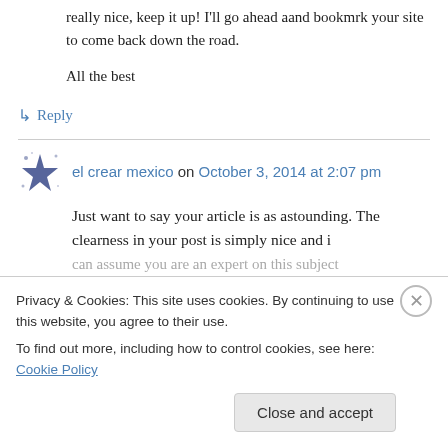really nice, keep it up! I'll go ahead aand bookmrk your site to come back down the road.
All the best
↳ Reply
el crear mexico on October 3, 2014 at 2:07 pm
Just want to say your article is as astounding. The clearness in your post is simply nice and i can assume you are an expert on this subject
Privacy & Cookies: This site uses cookies. By continuing to use this website, you agree to their use.
To find out more, including how to control cookies, see here: Cookie Policy
Close and accept